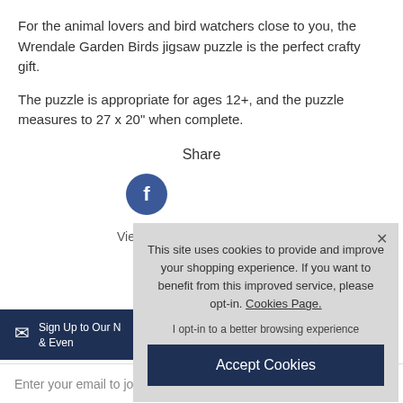For the animal lovers and bird watchers close to you, the Wrendale Garden Birds jigsaw puzzle is the perfect crafty gift.
The puzzle is appropriate for ages 12+, and the puzzle measures to 27 x 20" when complete.
Share
[Figure (other): Facebook share button (blue circle with letter f)]
View All W
This site uses cookies to provide and improve your shopping experience. If you want to benefit from this improved service, please opt-in. Cookies Page.
I opt-in to a better browsing experience
Accept Cookies
Sign Up to Our N & Even
Enter your email to join the C&H Newsletter...